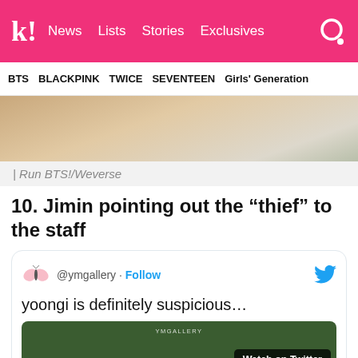k! News  Lists  Stories  Exclusives
BTS  BLACKPINK  TWICE  SEVENTEEN  Girls' Generation
[Figure (photo): Partial photo of a person, close-up, warm tones]
| Run BTS!/Weverse
10. Jimin pointing out the “thief” to the staff
[Figure (screenshot): Tweet from @ymgallery with butterfly avatar and Twitter bird icon. Text reads: yoongi is definitely suspicious... with a video thumbnail showing Watch on Twitter button]